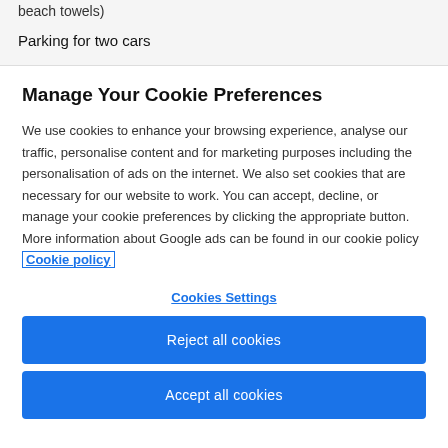beach towels)
Parking for two cars
Manage Your Cookie Preferences
We use cookies to enhance your browsing experience, analyse our traffic, personalise content and for marketing purposes including the personalisation of ads on the internet. We also set cookies that are necessary for our website to work. You can accept, decline, or manage your cookie preferences by clicking the appropriate button. More information about Google ads can be found in our cookie policy Cookie policy
Cookies Settings
Reject all cookies
Accept all cookies